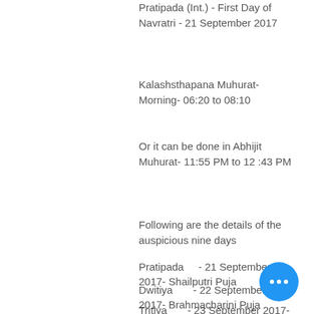Pratipada (Int.) - First Day of Navratri - 21 September 2017
Kalashsthapana Muhurat-  Morning- 06:20 to 08:10
Or it can be done in Abhijit Muhurat- 11:55 PM to 12 :43 PM
Following are the details of the auspicious nine days
Pratipada    -  21 September 2017- Shailputri Puja
Dwitiya      -  22 September 2017- Brahmacharini Puja
Tritiya      -  23 September 2017- Chandraghanta Puja